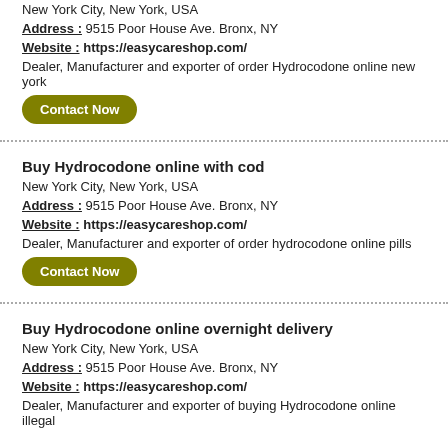New York City, New York, USA
Address : 9515 Poor House Ave. Bronx, NY
Website : https://easycareshop.com/
Dealer, Manufacturer and exporter of order Hydrocodone online new york
Contact Now
Buy Hydrocodone online with cod
New York City, New York, USA
Address : 9515 Poor House Ave. Bronx, NY
Website : https://easycareshop.com/
Dealer, Manufacturer and exporter of order hydrocodone online pills
Contact Now
Buy Hydrocodone online overnight delivery
New York City, New York, USA
Address : 9515 Poor House Ave. Bronx, NY
Website : https://easycareshop.com/
Dealer, Manufacturer and exporter of buying Hydrocodone online illegal